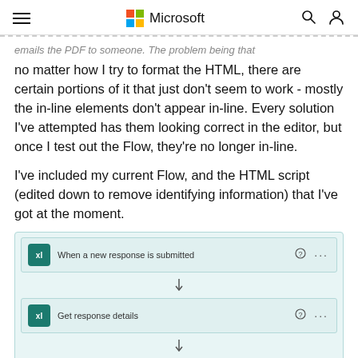Microsoft
emails the PDF to someone. The problem being that no matter how I try to format the HTML, there are certain portions of it that just don't seem to work - mostly the in-line elements don't appear in-line. Every solution I've attempted has them looking correct in the editor, but once I test out the Flow, they're no longer in-line.
I've included my current Flow, and the HTML script (edited down to remove identifying information) that I've got at the moment.
[Figure (screenshot): Microsoft Power Automate flow diagram showing three steps: 'When a new response is submitted', 'Get response details', and 'Create file', connected by downward arrows.]